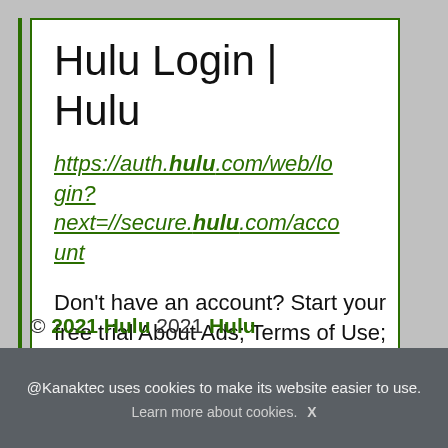Hulu Login | Hulu
https://auth.hulu.com/web/login?next=//secure.hulu.com/account
Don't have an account? Start your free trial About Ads; Terms of Use; Privacy Policy
© 2021 Hulu 2021 Hulu
@Kanaktec uses cookies to make its website easier to use.
Learn more about cookies.  X